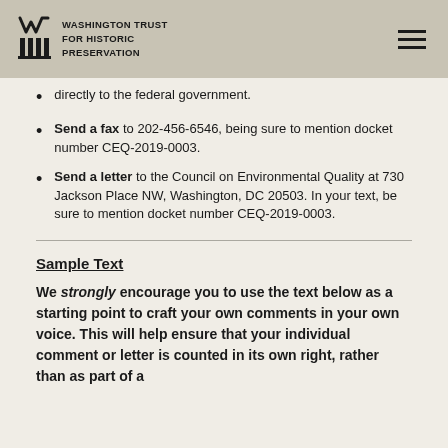WASHINGTON TRUST FOR HISTORIC PRESERVATION
directly to the federal government.
Send a fax to 202-456-6546, being sure to mention docket number CEQ-2019-0003.
Send a letter to the Council on Environmental Quality at 730 Jackson Place NW, Washington, DC 20503. In your text, be sure to mention docket number CEQ-2019-0003.
Sample Text
We strongly encourage you to use the text below as a starting point to craft your own comments in your own voice. This will help ensure that your individual comment or letter is counted in its own right, rather than as part of a